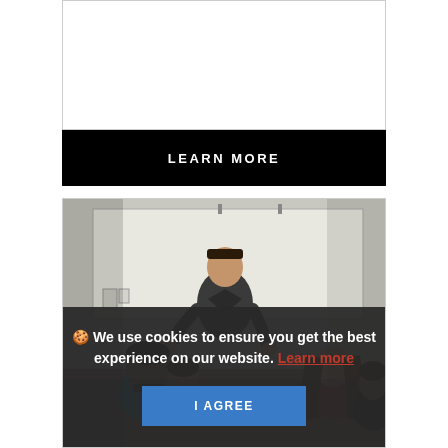[Figure (other): White rectangle placeholder area at top]
LEARN MORE
[Figure (photo): A male instructor in a dark suit standing at the front of a classroom, gesturing with hands, addressing seated students. A whiteboard is visible behind him.]
🍪 We use cookies to ensure you get the best experience on our website. Learn more
I AGREE